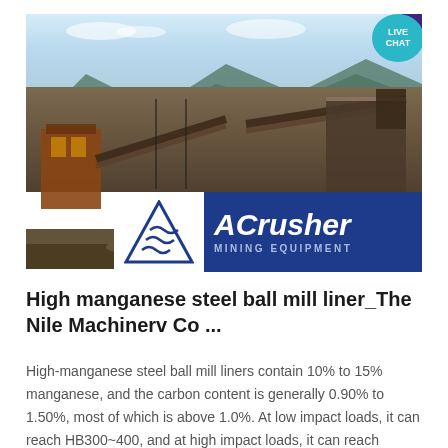[Figure (photo): Industrial mining/crushing plant with large conveyor belts and machinery against a mountainous background. ACrusher Mining Equipment logo overlay at bottom of image.]
High manganese steel ball mill liner_The Nile Machinerv Co ...
High-manganese steel ball mill liners contain 10% to 15% manganese, and the carbon content is generally 0.90% to 1.50%, most of which is above 1.0%. At low impact loads, it can reach HB300~400, and at high impact loads, it can reach HB500~800. With different impact loads, the depth of